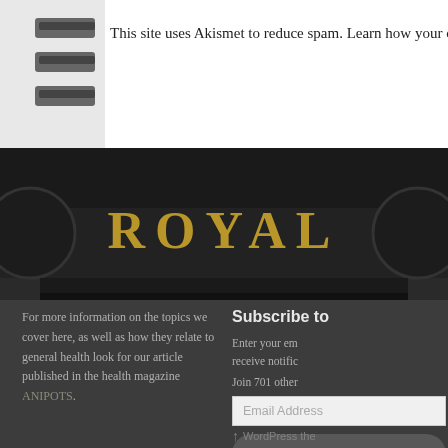This site uses Akismet to reduce spam. Learn how your co
[Figure (photo): Close-up of a Royal typewriter with gold ROYAL lettering on dark metal background]
For more information on the topics we cover here, as well as how they relate to general health look for our article published in the health magazine ANIPOTS.
Subscribe to
Enter your em receive notific
Join 701 other
Email Address
Subscrib
WordPress the